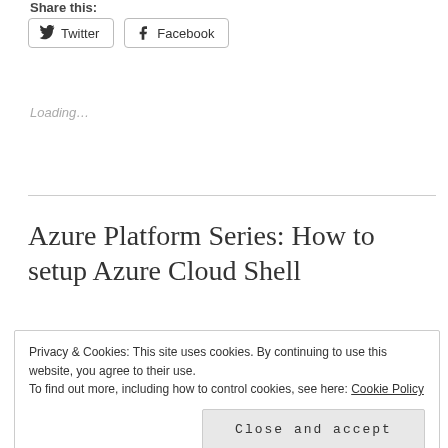Share this:
Twitter   Facebook
Loading...
Azure Platform Series: How to setup Azure Cloud Shell
Privacy & Cookies: This site uses cookies. By continuing to use this website, you agree to their use.
To find out more, including how to control cookies, see here: Cookie Policy
Close and accept